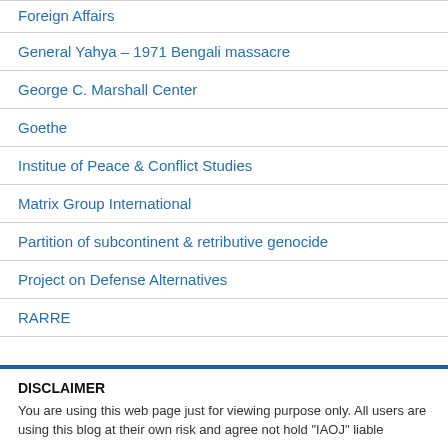Foreign Affairs
General Yahya – 1971 Bengali massacre
George C. Marshall Center
Goethe
Institue of Peace & Conflict Studies
Matrix Group International
Partition of subcontinent & retributive genocide
Project on Defense Alternatives
RARRE
DISCLAIMER
You are using this web page just for viewing purpose only. All users are using this blog at their own risk and agree not hold "IAOJ" liable